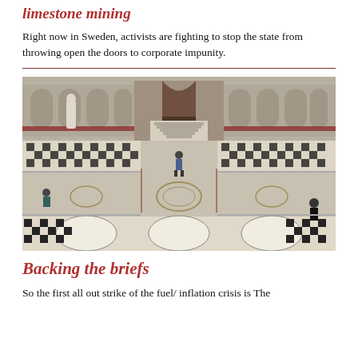limestone mining
Right now in Sweden, activists are fighting to stop the state from throwing open the doors to corporate impunity.
[Figure (photo): Aerial/elevated view of an ornate marble-floored hall interior with gothic arched doorways, a grand staircase, statues, and people walking across an elaborate black and white geometric tiled floor.]
Backing the briefs
So the first all out strike of the fuel/ inflation crisis is The